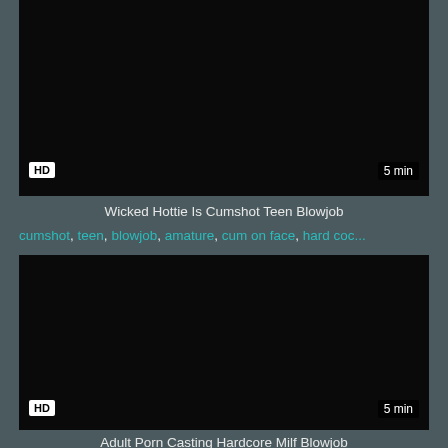[Figure (screenshot): Dark/black video thumbnail with HD badge bottom-left and 5 min badge bottom-right]
Wicked Hottie Is Cumshot Teen Blowjob
cumshot, teen, blowjob, amature, cum on face, hard coc...
[Figure (screenshot): Dark/black video thumbnail with HD badge bottom-left and 5 min badge bottom-right]
Adult Porn Casting Hardcore Milf Blowjob